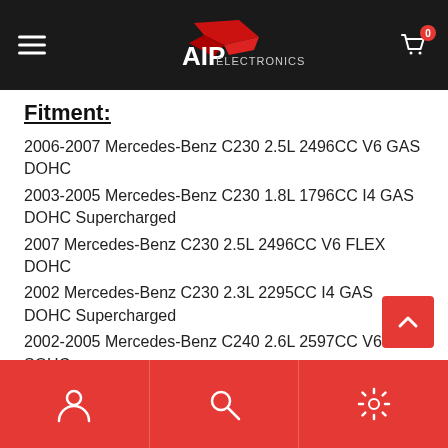AIP Electronics
Fitment:
2006-2007 Mercedes-Benz C230 2.5L 2496CC V6 GAS DOHC
2003-2005 Mercedes-Benz C230 1.8L 1796CC I4 GAS DOHC Supercharged
2007 Mercedes-Benz C230 2.5L 2496CC V6 FLEX DOHC
2002 Mercedes-Benz C230 2.3L 2295CC I4 GAS DOHC Supercharged
2002-2005 Mercedes-Benz C240 2.6L 2597CC V6 GAS SOHC
2006-2007 Mercedes-Benz C280 3.0L 2996CC V6 GAS DOHC
2002-2004 Mercedes-Benz C32 AMG 3.2L 3199CC V6